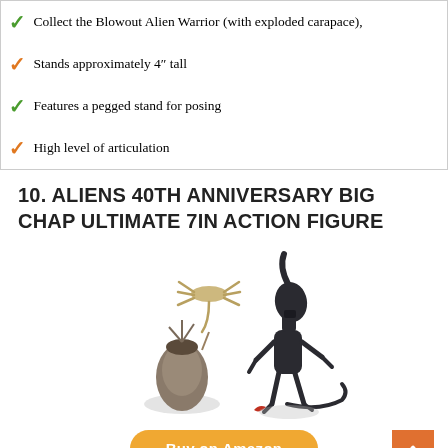Collect the Blowout Alien Warrior (with exploded carapace),
Stands approximately 4" tall
Features a pegged stand for posing
High level of articulation
10. ALIENS 40TH ANNIVERSARY BIG CHAP ULTIMATE 7IN ACTION FIGURE
[Figure (photo): Product photo of the Aliens 40th Anniversary Big Chap Ultimate 7in Action Figure set, showing a facehugger creature, an alien egg, and a tall dark alien warrior figure, with a small red accessory on the ground.]
Buy on Amazon
Features: